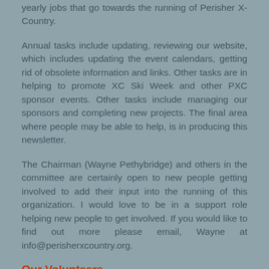yearly jobs that go towards the running of Perisher X-Country.
Annual tasks include updating, reviewing our website, which includes updating the event calendars, getting rid of obsolete information and links. Other tasks are in helping to promote XC Ski Week and other PXC sponsor events. Other tasks include managing our sponsors and completing new projects. The final area where people may be able to help, is in producing this newsletter.
The Chairman (Wayne Pethybridge) and others in the committee are certainly open to new people getting involved to add their input into the running of this organization. I would love to be in a support role helping new people to get involved. If you would like to find out more please email, Wayne at info@perisherxcountry.org.
Our Volunteers
As a skiing community, many volunteers have had to pitch in to try and make this winter as normal as possible. The